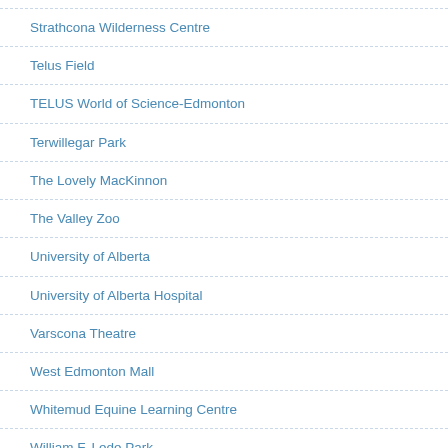Strathcona Wilderness Centre
Telus Field
TELUS World of Science-Edmonton
Terwillegar Park
The Lovely MacKinnon
The Valley Zoo
University of Alberta
University of Alberta Hospital
Varscona Theatre
West Edmonton Mall
Whitemud Equine Learning Centre
William F. Lede Park